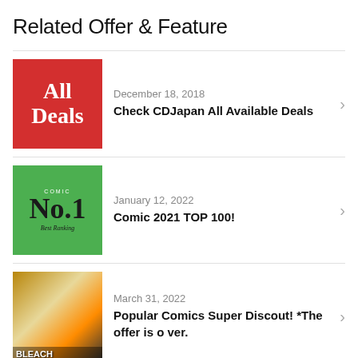Related Offer & Feature
December 18, 2018
Check CDJapan All Available Deals
January 12, 2022
Comic 2021 TOP 100!
March 31, 2022
Popular Comics Super Discout! *The offer is o ver.
December 24, 2019
OCEAN-TEABAG: Cutest Tea Bags from Japan [Proxy Shopping Pickup]
December 08, 2017
2017 years most popular manga selection!